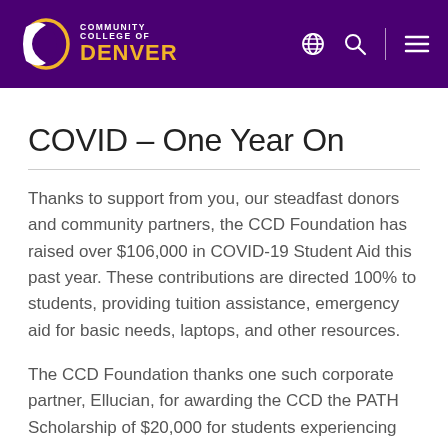Community College of Denver
COVID – One Year On
Thanks to support from you, our steadfast donors and community partners, the CCD Foundation has raised over $106,000 in COVID-19 Student Aid this past year. These contributions are directed 100% to students, providing tuition assistance, emergency aid for basic needs, laptops, and other resources.
The CCD Foundation thanks one such corporate partner, Ellucian, for awarding the CCD the PATH Scholarship of $20,000 for students experiencing economic hardship during the COVID-19...